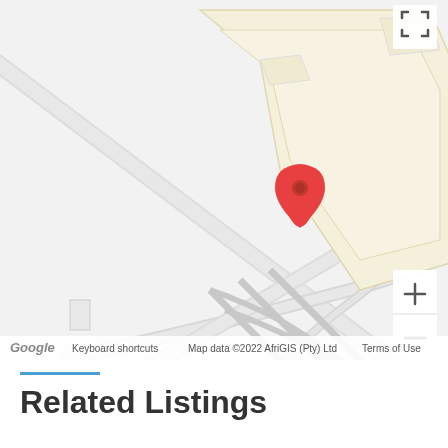[Figure (map): Google Maps view showing a location pin (red marker) dropped on a property area. The map shows roads and building outlines in a suburban/industrial area. Map data attributed to AfriGIS (Pty) Ltd, 2022. Includes zoom controls and fullscreen button.]
Related Listings